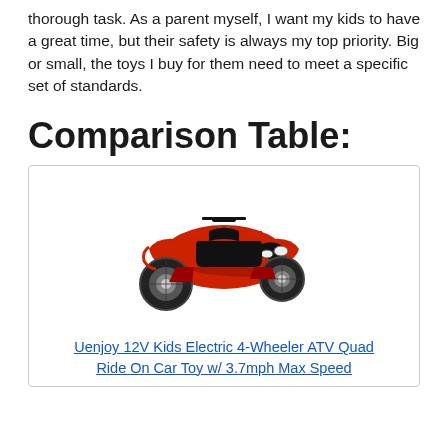thorough task. As a parent myself, I want my kids to have a great time, but their safety is always my top priority. Big or small, the toys I buy for them need to meet a specific set of standards.
Comparison Table:
[Figure (photo): Red kids electric 4-wheeler ATV quad ride-on toy car]
Uenjoy 12V Kids Electric 4-Wheeler ATV Quad Ride On Car Toy w/ 3.7mph Max Speed